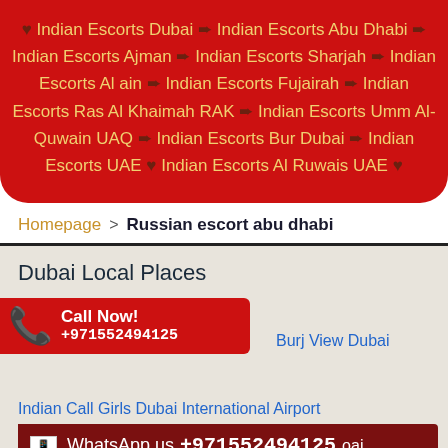♥ Indian Escorts Dubai ➨ Indian Escorts Abu Dhabi ➨ Indian Escorts Ajman ➨ Indian Escorts Sharjah ➨ Indian Escorts Al ain ➨ Indian Escorts Fujairah ➨ Indian Escorts Ras Al Khaimah RAK ➨ Indian Escorts Umm Al-Quwain UAQ ➨ Indian Escorts Bur Dubai ➨ Indian Escorts UAE ♥ Indian Escorts Al Ruwais UAE ♥
Homepage > Russian escort abu dhabi
Dubai Local Places
[Figure (other): Call Now! +971552494125 button with phone icon]
Burj View Dubai
Indian Call Girls Dubai International Airport
[Figure (other): WhatsApp us +971552494125 banner with WhatsApp icon, trailing text 'oai']